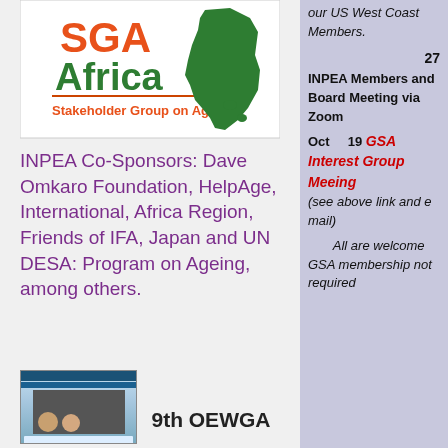[Figure (logo): SGA Africa - Stakeholder Group on Ageing logo with green Africa map silhouette]
INPEA Co-Sponsors: Dave Omkaro Foundation, HelpAge, International, Africa Region, Friends of IFA, Japan and UN DESA: Program on Ageing, among others.
[Figure (screenshot): Screenshot of a webpage related to 9th OEWGA]
9th OEWGA
our US West Coast Members.
27 INPEA Members and Board Meeting via Zoom
Oct 19 GSA Interest Group Meeing (see above link and e mail)
All are welcome GSA membership not required